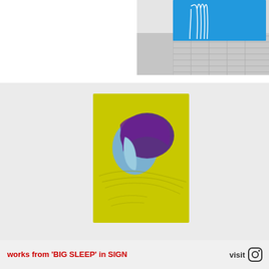[Figure (photo): Top-right artwork photo: a blue translucent painting or sheet hanging in a gallery space with grid-like floor or wall structure, featuring white line drawings on bright blue background]
[Figure (photo): Large bottom artwork photo: a painting on yellow-green/chartreuse background showing a woman's profile portrait in blue and purple tones, with gestural line marks around the figure; displayed on white gallery wall]
works from 'BIG SLEEP' in SIGN
visit